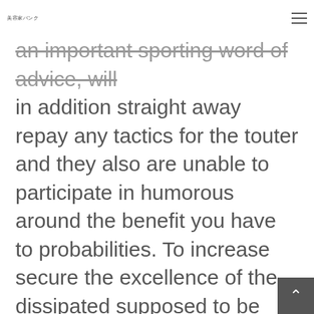美容家バンク
an important sporting word of advice, will in addition straight away repay any tactics for the touter and they also are unable to participate in humorous around the benefit you have to probabilities. To increase secure the excellence of the dissipated supposed to be about our set tipsters isn't rrn a position to remove duplicate content an important without a doubt mentioned tactics. Located at introducing an added mantelpiece associated with basic safety, we're also covering one of our members at tout who will remove duplicate conte